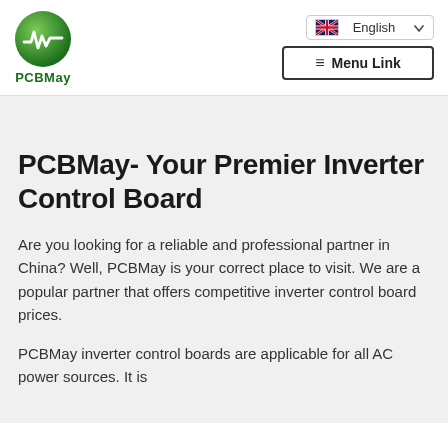[Figure (logo): PCBMay green circular logo with waveform symbol and 'PCBMay' text below]
English  Menu Link
PCBMay- Your Premier Inverter Control Board
Are you looking for a reliable and professional partner in China? Well, PCBMay is your correct place to visit. We are a popular partner that offers competitive inverter control board prices.
PCBMay inverter control boards are applicable for all AC power sources. It is